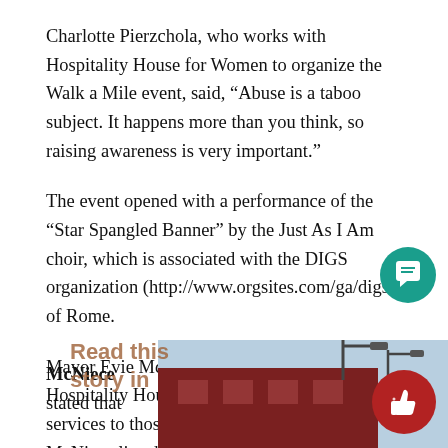Charlotte Pierzchola, who works with Hospitality House for Women to organize the Walk a Mile event, said, “Abuse is a taboo subject. It happens more than you think, so raising awareness is very important.”
The event opened with a performance of the “Star Spangled Banner” by the Just As I Am choir, which is associated with the DIGS organization (http://www.orgsites.com/ga/digs/) of Rome.
Mayor Evie McNiece lauded the efforts of Hospitality House for Women in providing services to those affected by domestic abuse. McNiece listed a 24-hour crisis line, financial assistance and group and individual counseling among other services.
McNiece stated that
[Figure (photo): Partial photo of a building with street lamp visible, overlaid with 'Read this story in' watermark text]